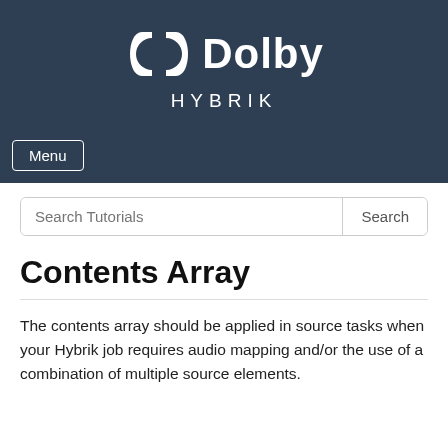[Figure (logo): Dolby Hybrik logo with white text on dark blue/navy background]
Menu
Search Tutorials
Contents Array
The contents array should be applied in source tasks when your Hybrik job requires audio mapping and/or the use of a combination of multiple source elements.